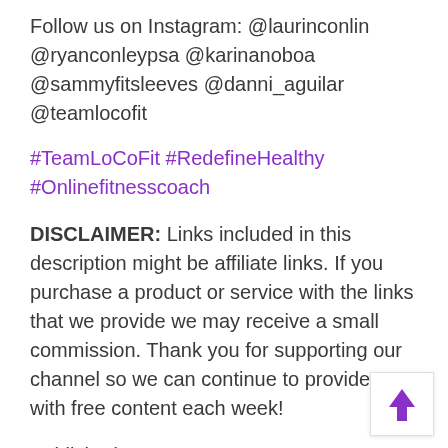Follow us on Instagram: @laurinconlin @ryanconleypsa @karinanoboa @sammyfitsleeves @danni_aguilar @teamlocofit
#TeamLoCoFit #RedefineHealthy #Onlinefitnesscoach
DISCLAIMER: Links included in this description might be affiliate links. If you purchase a product or service with the links that we provide we may receive a small commission. Thank you for supporting our channel so we can continue to provide you with free content each week!
Published on May 12, 2022